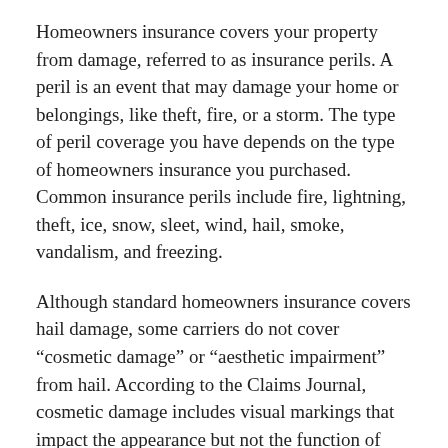Homeowners insurance covers your property from damage, referred to as insurance perils. A peril is an event that may damage your home or belongings, like theft, fire, or a storm. The type of peril coverage you have depends on the type of homeowners insurance you purchased. Common insurance perils include fire, lightning, theft, ice, snow, sleet, wind, hail, smoke, vandalism, and freezing.
Although standard homeowners insurance covers hail damage, some carriers do not cover “cosmetic damage” or “aesthetic impairment” from hail. According to the Claims Journal, cosmetic damage includes visual markings that impact the appearance but not the function of your home. For example, if hail dents your roof, but your roof still prevents water from entering the home, that might be considered cosmetic damage.